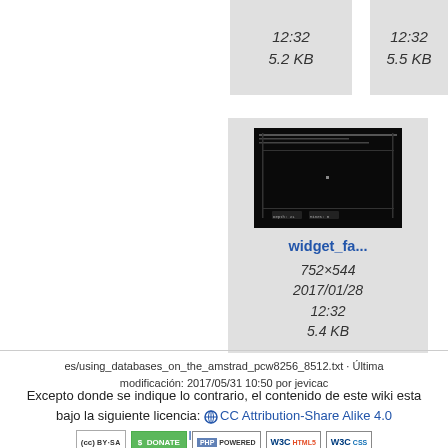12:32
5.2 KB
12:32
5.5 KB
[Figure (screenshot): Thumbnail of widget_fa... file showing a retro computer game screenshot on dark background. Resolution 752×544, dated 2017/01/28 12:32, 5.4 KB.]
widget_fa...
752×544
2017/01/28
12:32
5.4 KB
es/using_databases_on_the_amstrad_pcw8256_8512.txt · Última modificación: 2017/05/31 10:50 por jevicac
Excepto donde se indique lo contrario, el contenido de este wiki esta bajo la siguiente licencia: CC Attribution-Share Alike 4.0 International
[Figure (logo): Row of badges: CC BY-SA, Donate, PHP Powered, W3C HTML5, W3C CSS]